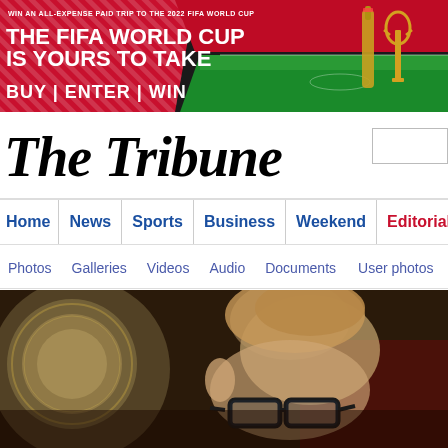[Figure (photo): Advertisement banner: Win an all-expense paid trip to the 2022 FIFA World Cup. The FIFA World Cup is yours to take. Buy | Enter | Win. Shows beer bottle and trophy against stadium background.]
The Tribune
Home | News | Sports | Business | Weekend | Editorial
Photos  Galleries  Videos  Audio  Documents  User photos
[Figure (photo): Photograph of a man with short brown hair wearing black-framed glasses, photographed against a blurred background with a gold/bronze decorative element (clock or medallion) on the left and a dark red background on the right.]